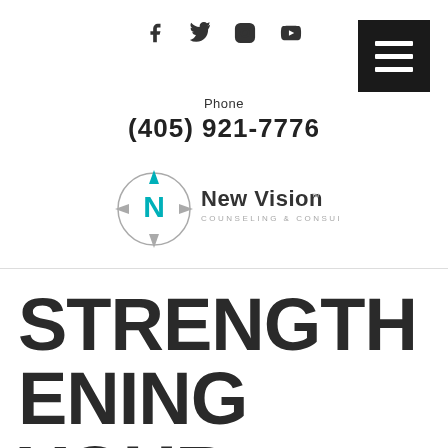Social icons: Facebook, Twitter, Instagram, YouTube
Phone
(405) 921-7776
[Figure (logo): New Vision Counseling & Consulting logo — compass circle with teal N letterform and the text 'New Vision COUNSELING & CONSULTING']
STRENGTHENING YOUR SPOUSAL